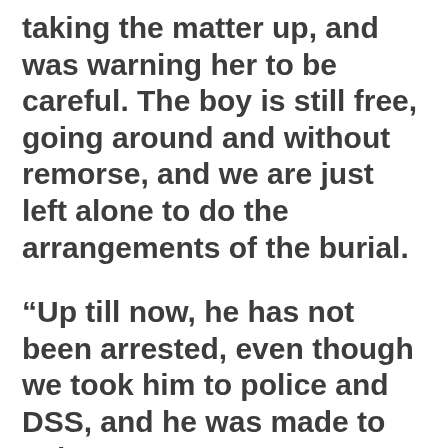taking the matter up, and was warning her to be careful. The boy is still free, going around and without remorse, and we are just left alone to do the arrangements of the burial.
“Up till now, he has not been arrested, even though we took him to police and DSS, and he was made to write an